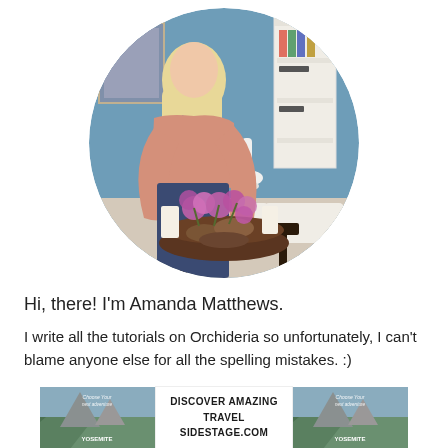[Figure (photo): Circular cropped photo of a blonde woman leaning over a table arranging a bowl of purple orchids with pine cones, set in a blue-walled room with white shelving, a lamp, and white chairs.]
Hi, there! I'm Amanda Matthews.
I write all the tutorials on Orchideria so unfortunately, I can't blame anyone else for all the spelling mistakes. :)
[Figure (infographic): Advertisement banner with two landscape travel photos of Yosemite on either side, and center text reading: DISCOVER AMAZING TRAVEL SIDESTAGE.COM]